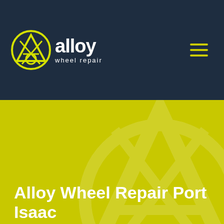[Figure (logo): Alloy Wheel Repair logo: yellow circular A icon with white text 'alloy' and 'wheel repair' on dark navy background]
Alloy Wheel Repair Port Isaac
Alloy Wheel Repair Port Isaac
Our Port Isaac-based alloy wheel experts are available to